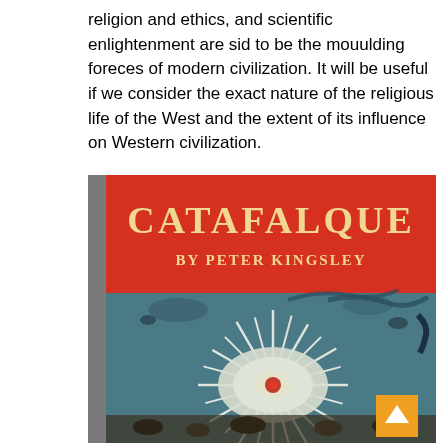religion and ethics, and scientific enlightenment are sid to be the mouulding foreces of modern civilization. It will be useful if we consider the exact nature of the religious life of the West and the extent of its influence on Western civilization.
[Figure (photo): Book cover of 'CATAFALQUE by PETER KINGSLEY'. Red top portion with gold serif title text 'CATAFALQUE' and subtitle 'BY PETER KINGSLEY'. Below is a painted illustration of a white radiant sea-anemone or flower-like form with a red center, set against a dark teal/grey background with swirling shapes and creatures.]